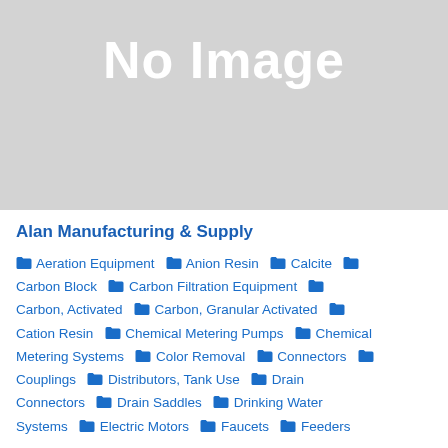[Figure (other): Gray placeholder box with 'No Image' text in white]
Alan Manufacturing & Supply
Aeration Equipment  Anion Resin  Calcite  Carbon Block  Carbon Filtration Equipment  Carbon, Activated  Carbon, Granular Activated  Cation Resin  Chemical Metering Pumps  Chemical Metering Systems  Color Removal  Connectors  Couplings  Distributors, Tank Use  Drain Connectors  Drain Saddles  Drinking Water Systems  Electric Motors  Faucets  Feeders